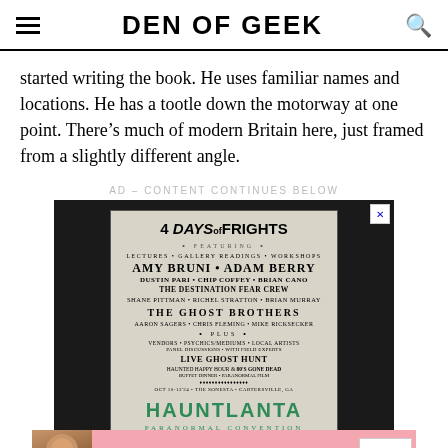DEN OF GEEK
started writing the book. He uses familiar names and locations. He has a tootle down the motorway at one point. There’s much of modern Britain here, just framed from a slightly different angle.
AD – CONTENT CONTINUES BELOW
[Figure (infographic): 4 Days of Frights event poster featuring Amy Bruni, Adam Berry, Dustin Pari, Chip Coffey, Brian Cano, The Destination Fear Crew, Shane Pittman, Richel Stratton, Brian Murray, The Ghost Brothers, Aaron Sagers, Chris Fleming, Mike Ricksecker, plus vendors, psychics/mediums, local artists, live ghost hunt, haunted happy hour, and more. Hauntlanta Paranormal Convention branding at bottom.]
[Figure (infographic): Victoria's Secret advertisement: Shop the Collection. Shows a woman model with VS logo and 'Shop Now' button on pink background.]